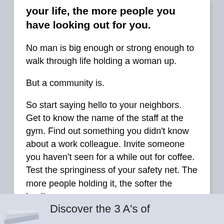your life, the more people you have looking out for you.
No man is big enough or strong enough to walk through life holding a woman up.
But a community is.
So start saying hello to your neighbors. Get to know the name of the staff at the gym. Find out something you didn't know about a work colleague. Invite someone you haven't seen for a while out for coffee. Test the springiness of your safety net. The more people holding it, the softer the landing.
Discover the 3 A's of